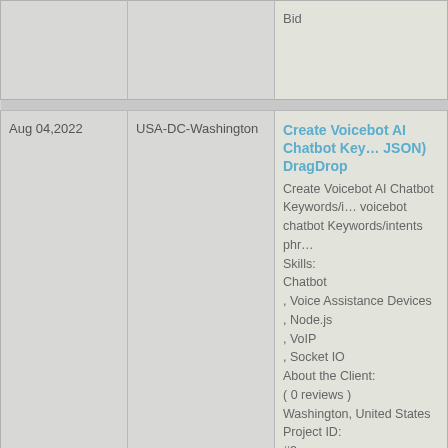| Date | Location | Project |
| --- | --- | --- |
|  |  | Bid |
| Aug 04,2022 | USA-DC-Washington | Create Voicebot AI Chatbot Key… JSON) DragDrop
Create Voicebot AI Chatbot Keywords/i… voicebot chatbot Keywords/intents phr…
Skills:
Chatbot
, Voice Assistance Devices
, Node.js
, VoIP
, Socket IO
About the Client:
( 0 reviews )
Washington, United States
Project ID:
#3 |
| Aug 04,2022 | USA-FL-Coral Gables | Credit Card Scanner API for SQ…
Credit Card Scanner API for SQUAREU…
We are a team of developers and we a…
We built the Mobile APP to process pay… |